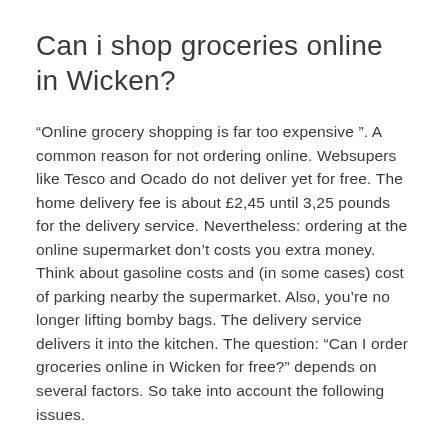Can i shop groceries online in Wicken?
“Online grocery shopping is far too expensive ”. A common reason for not ordering online. Websupers like Tesco and Ocado do not deliver yet for free. The home delivery fee is about £2,45 until 3,25 pounds for the delivery service. Nevertheless: ordering at the online supermarket don’t costs you extra money. Think about gasoline costs and (in some cases) cost of parking nearby the supermarket. Also, you’re no longer lifting bomby bags. The delivery service delivers it into the kitchen. The question: “Can I order groceries online in Wicken for free?” depends on several factors. So take into account the following issues.